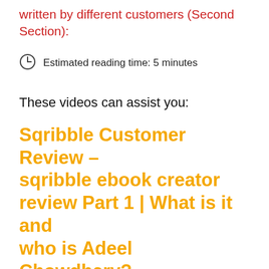written by different customers (Second Section):
Estimated reading time: 5 minutes
These videos can assist you:
Sqribble Customer Review – sqribble ebook creator review Part 1 | What is it and who is Adeel Chowdhary?
To begin, you must purchase a commercial agency license.